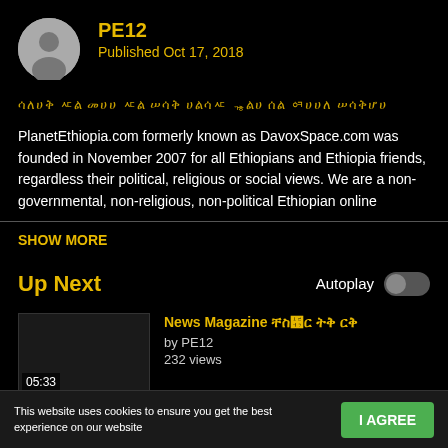[Figure (illustration): Circular grey avatar/profile icon with silhouette of a person]
PE12
Published Oct 17, 2018
ባለበት ከተለይ መንግስታዊ በላይ ዐሰሠረዐ የኯል እልል በዚህ ዐሰረኰ
PlanetEthiopia.com formerly known as DavoxSpace.com was founded in November 2007 for all Ethiopians and Ethiopia friends, regardless their political, religious or social views. We are a non-governmental, non-religious, non-political Ethiopian online
SHOW MORE
Up Next
Autoplay
News Magazine የሴኰዳ የእዕዜ ወረ by PE12 232 views 05:33